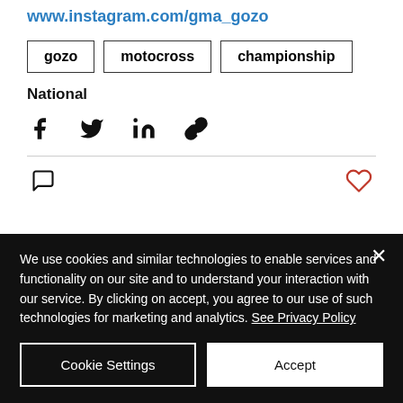www.instagram.com/gma_gozo
gozo
motocross
championship
National
[Figure (other): Social share icons: Facebook, Twitter, LinkedIn, link/copy]
[Figure (other): Comment icon and heart/like icon]
We use cookies and similar technologies to enable services and functionality on our site and to understand your interaction with our service. By clicking on accept, you agree to our use of such technologies for marketing and analytics. See Privacy Policy
Cookie Settings
Accept